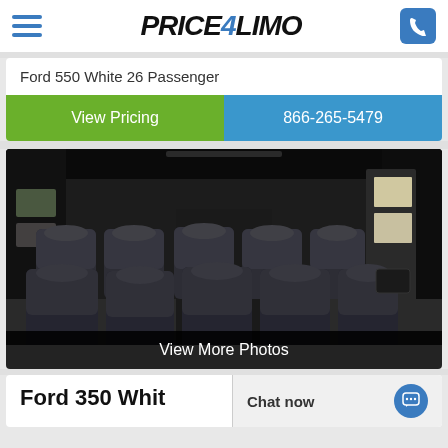PRICE4LIMO [navigation header with logo, hamburger menu, and phone button]
Ford 550 White 26 Passenger
View Pricing
866-265-5479
[Figure (photo): Interior of a Ford 550 white passenger van/bus showing multiple rows of black leather seats viewed from the rear, with windows on both sides and overhead black curtain/covering.]
View More Photos
Ford 350 Whit
Chat now